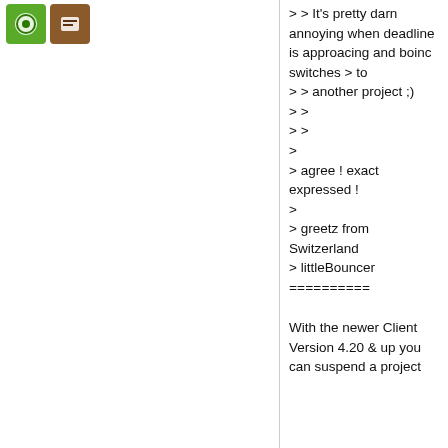[Figure (other): Two small square icons in the top-left: a green icon and a brown/dark-red icon]
> > It's pretty darn annoying when deadline is approacing and boinc switches > to
> > another project ;)
> >
> >
>
> agree ! exact expressed !
>
> greetz from Switzerland
> littleBouncer
==========

With the newer Client Version 4.20 & up you can suspend a project